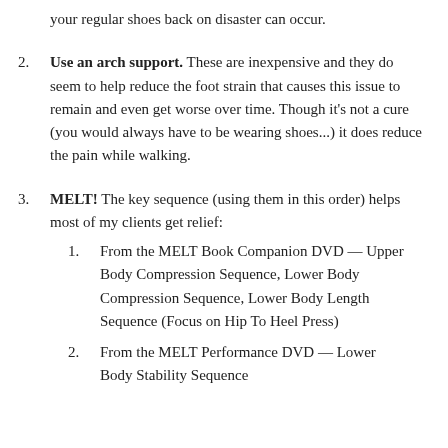your regular shoes back on disaster can occur.
2. Use an arch support. These are inexpensive and they do seem to help reduce the foot strain that causes this issue to remain and even get worse over time. Though it's not a cure (you would always have to be wearing shoes...) it does reduce the pain while walking.
3. MELT! The key sequence (using them in this order) helps most of my clients get relief:
1. From the MELT Book Companion DVD — Upper Body Compression Sequence, Lower Body Compression Sequence, Lower Body Length Sequence (Focus on Hip To Heel Press)
2. From the MELT Performance DVD — Lower Body Stability Sequence